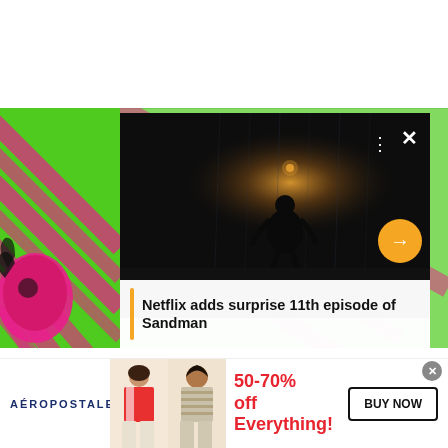[Figure (screenshot): Screenshot of a website showing a Netflix news article overlay on a comic book background. A video panel shows a dark scene with a silhouetted figure. Progress bars at top, three-dots and X buttons visible. An orange arrow button points right. Below the video is a caption box with an orange bar and article headline.]
Netflix adds surprise 11th episode of Sandman
[Figure (screenshot): Aeropostale advertisement banner showing two female models, the Aeropostale logo, '50-70% off Everything!' in red, and a 'BUY NOW' button. An X close button is in the top right corner.]